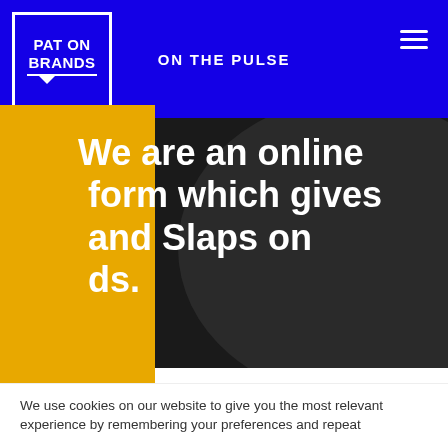PAT ON BRANDS | ON THE PULSE
We are an online platform which gives Pats and Slaps on Brands.
We use cookies on our website to give you the most relevant experience by remembering your preferences and repeat